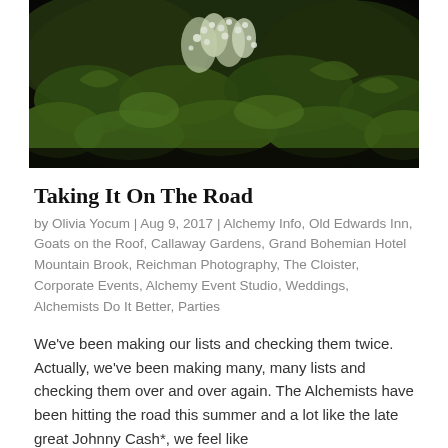[Figure (photo): Outdoor photo of lush green plants and white flowering shrubs, dark background, viewed from slightly above]
Taking It On The Road
by Olivia Yocum | Aug 9, 2017 | Alchemy Info, Old Edwards Inn, Goats on the Roof, Callaway Gardens, Grand Bohemian Hotel Mountain Brook, Reichman Photography, The Cloister, Corporate Events, Alchemy Event Studio, Weddings, Alchemists Do It Better, Parties
We've been making our lists and checking them twice. Actually, we've been making many, many lists and checking them over and over again. The Alchemists have been hitting the road this summer and a lot like the late great Johnny Cash*, we feel like